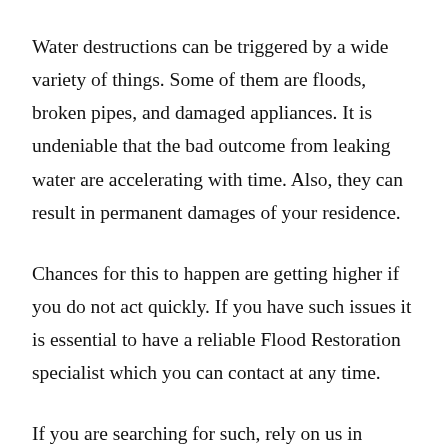Water destructions can be triggered by a wide variety of things. Some of them are floods, broken pipes, and damaged appliances. It is undeniable that the bad outcome from leaking water are accelerating with time. Also, they can result in permanent damages of your residence.
Chances for this to happen are getting higher if you do not act quickly. If you have such issues it is essential to have a reliable Flood Restoration specialist which you can contact at any time.
If you are searching for such, rely on us in Rogue…